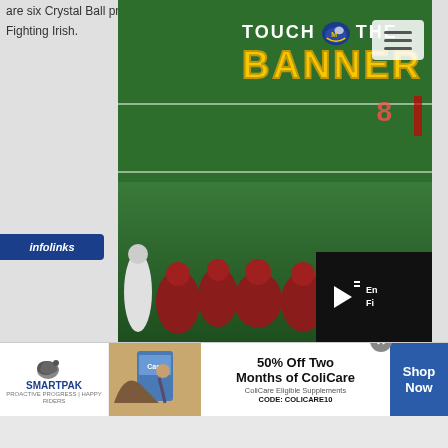are six Crystal Ball predictions in Fighting Irish.
[Figure (screenshot): Touch the Banner logo overlay with Michigan helmet icon, yellow BANNER text, on top of a football field video showing players in red uniforms at line of scrimmage. A video player overlay in bottom-right corner shows a play button with text 'En... Fi...']
[Figure (logo): infolinks badge in blue]
[Figure (infographic): SmartPak advertisement banner showing horse/rider logo, product image, '50% Off Two Months of ColiCare' offer, 'ColiCare Eligible Supplements CODE: COLICARE10', and 'Shop Now' button]